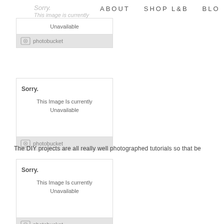ABOUT   SHOP L&B   BLO
[Figure (screenshot): Photobucket unavailable image placeholder 1 - Sorry. This Image Is currently Unavailable]
[Figure (screenshot): Photobucket unavailable image placeholder 2 - Sorry. This Image Is currently Unavailable]
The DIY projects are all really well photographed tutorials so that be
[Figure (screenshot): Photobucket unavailable image placeholder 3 - Sorry. This Image Is currently Unavailable]